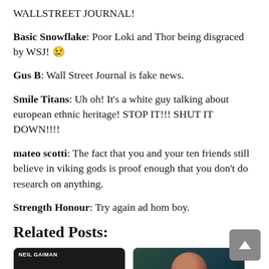WALLSTREET JOURNAL!
Basic Snowflake: Poor Loki and Thor being disgraced by WSJ! 😢
Gus B: Wall Street Journal is fake news.
Smile Titans: Uh oh! It's a white guy talking about european ethnic heritage! STOP IT!!! SHUT IT DOWN!!!!
mateo scotti: The fact that you and your ten friends still believe in viking gods is proof enough that you don't do research on anything.
Strength Honour: Try again ad hom boy.
Related Posts:
[Figure (photo): Book cover for Neil Gaiman book with dark background and white text]
[Figure (photo): Portrait photo of a person with dark background]